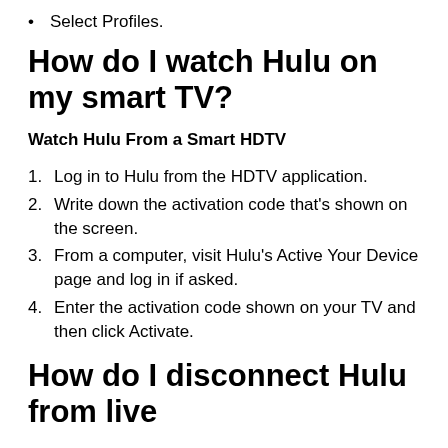Select  Profiles.
How do I watch Hulu on my smart TV?
Watch Hulu From a Smart HDTV
1. Log in to Hulu from the HDTV application.
2. Write down the activation code that's shown on the screen.
3. From a computer, visit Hulu's Active Your Device page and log in if asked.
4. Enter the activation code shown on your TV and then click Activate.
How do I disconnect Hulu from live